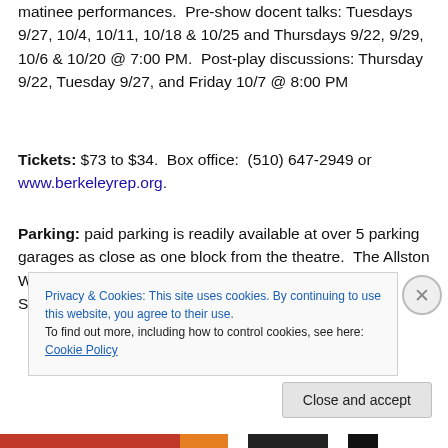matinee performances.  Pre-show docent talks: Tuesdays 9/27, 10/4, 10/11, 10/18 & 10/25 and Thursdays 9/22, 9/29, 10/6 & 10/20 @ 7:00 PM.  Post-play discussions: Thursday 9/22, Tuesday 9/27, and Friday 10/7 @ 8:00 PM
Tickets: $73 to $34.  Box office:  (510) 647-2949 or www.berkeleyrep.org.
Parking: paid parking is readily available at over 5 parking garages as close as one block from the theatre.  The Allston Way Garage, 2061 Allston Way, between Milvia and Shattuck, offers $3 parking Tuesday–Friday after 6
Privacy & Cookies: This site uses cookies. By continuing to use this website, you agree to their use.
To find out more, including how to control cookies, see here: Cookie Policy
Close and accept